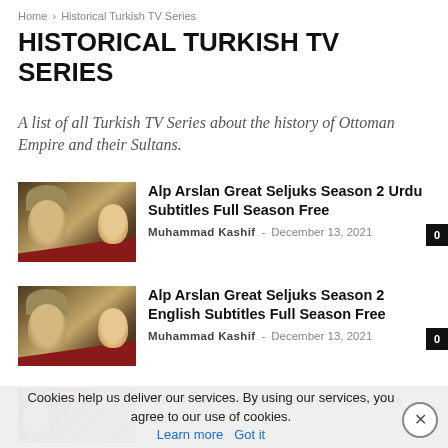Home › Historical Turkish TV Series
HISTORICAL TURKISH TV SERIES
A list of all Turkish TV Series about the history of Ottoman Empire and their Sultans.
[Figure (photo): Thumbnail image for Alp Arslan Great Seljuks Season 2 article showing historical figures]
Alp Arslan Great Seljuks Season 2 Urdu Subtitles Full Season Free
Muhammad Kashif - December 13, 2021
0
[Figure (photo): Thumbnail image for Alp Arslan Great Seljuks Season 2 English article showing historical figures]
Alp Arslan Great Seljuks Season 2 English Subtitles Full Season Free
Muhammad Kashif - December 13, 2021
0
[Figure (photo): Thumbnail image for Watch Mavera Season 1 article]
Watch Mavera Season 1 All Episodes with
Cookies help us deliver our services. By using our services, you agree to our use of cookies. Learn more   Got it